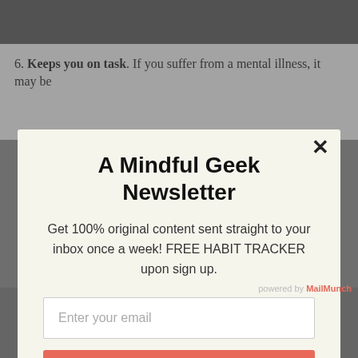[Figure (photo): Grayscale photo at top of page, partially visible]
6. Keeps you on task. If you suffer from a mental illness, it may be
A Mindful Geek Newsletter
Get 100% original content sent straight to your inbox once a week! FREE HABIT TRACKER upon sign up.
Enter your email
Click Here to Subscribe
powered by MailMunch
[Figure (photo): Grayscale street photo at bottom of page showing crowd of people]